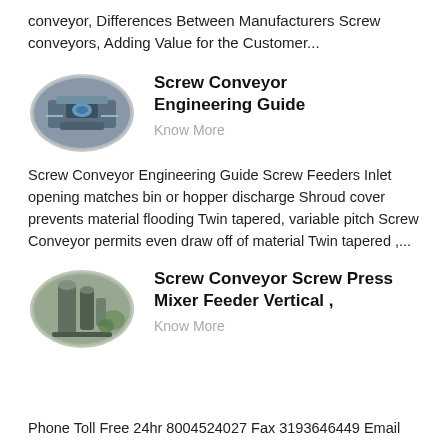conveyor, Differences Between Manufacturers Screw conveyors, Adding Value for the Customer...
[Figure (photo): Oval/ellipse shaped photo of industrial screw conveyor equipment]
Screw Conveyor Engineering Guide
Know More
Screw Conveyor Engineering Guide Screw Feeders Inlet opening matches bin or hopper discharge Shroud cover prevents material flooding Twin tapered, variable pitch Screw Conveyor permits even draw off of material Twin tapered ,...
[Figure (photo): Oval/ellipse shaped photo of screw conveyor screw press mixer feeder vertical equipment outdoors]
Screw Conveyor Screw Press Mixer Feeder Vertical ,
Know More
Phone Toll Free 24hr 8004524027 Fax 3193646449 Email